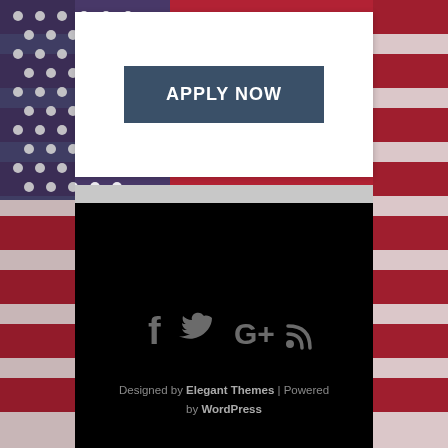[Figure (illustration): American flag background with red, white, and blue stripes and stars on left and right sides of the page]
APPLY NOW
Designed by Elegant Themes | Powered by WordPress
[Figure (illustration): Social media icons: Facebook, Twitter, Google+, RSS feed in gray on black background]